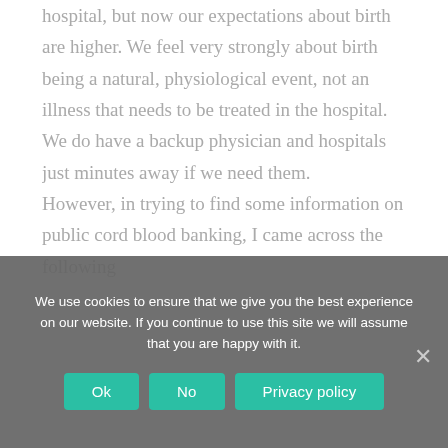hospital, but now our expectations about birth are higher. We feel very strongly about birth being a natural, physiological event, not an illness that needs to be treated in the hospital. We do have a backup physician and hospitals just minutes away if we need them. However, in trying to find some information on public cord blood banking, I came across the following
We use cookies to ensure that we give you the best experience on our website. If you continue to use this site we will assume that you are happy with it.